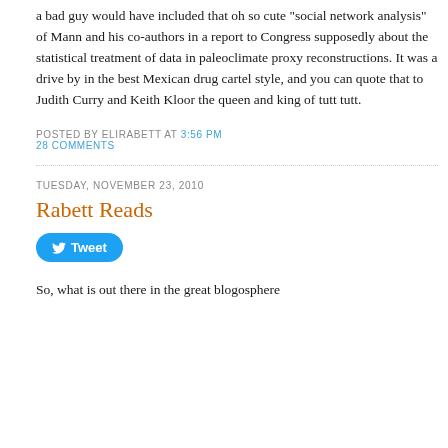a bad guy would have included that oh so cute "social network analysis" of Mann and his co-authors in a report to Congress supposedly about the statistical treatment of data in paleoclimate proxy reconstructions. It was a drive by in the best Mexican drug cartel style, and you can quote that to Judith Curry and Keith Kloor the queen and king of tutt tutt.
POSTED BY ELIRABETT AT 3:56 PM  28 COMMENTS
TUESDAY, NOVEMBER 23, 2010
Rabett Reads
Tweet
So, what is out there in the great blogosphere